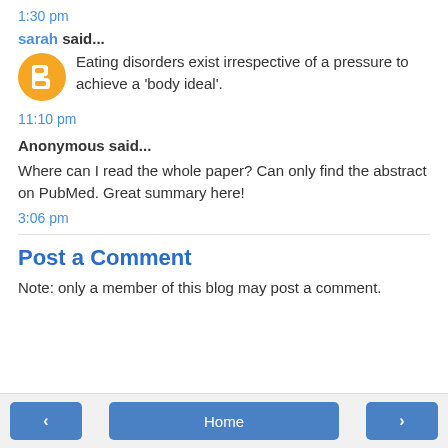1:30 pm
sarah said...
Eating disorders exist irrespective of a pressure to achieve a 'body ideal'.
11:10 pm
Anonymous said...
Where can I read the whole paper? Can only find the abstract on PubMed. Great summary here!
3:06 pm
Post a Comment
Note: only a member of this blog may post a comment.
< | Home | >